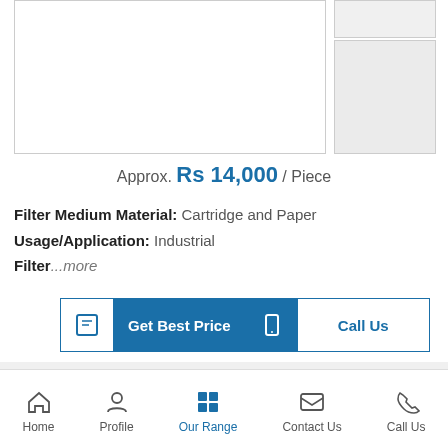[Figure (photo): Main product image area (large) for an electroplating chemical filter]
[Figure (photo): Thumbnail image 1 of product]
[Figure (photo): Thumbnail image 2 of product]
Approx. Rs 14,000 / Piece
Filter Medium Material: Cartridge and Paper
Usage/Application: Industrial
Filter...more
Get Best Price
Call Us
Electroplating and Chemical Filter
Home | Profile | Our Range | Contact Us | Call Us